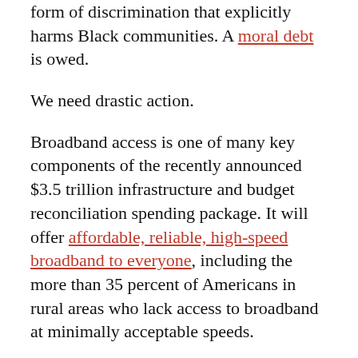form of discrimination that explicitly harms Black communities. A moral debt is owed.
We need drastic action.
Broadband access is one of many key components of the recently announced $3.5 trillion infrastructure and budget reconciliation spending package. It will offer affordable, reliable, high-speed broadband to everyone, including the more than 35 percent of Americans in rural areas who lack access to broadband at minimally acceptable speeds.
On July 13th, Senate Majority Leader Senate Majority Leader Chuck Schumer (D-NY) announced an agreement on a blueprint for a spending package that